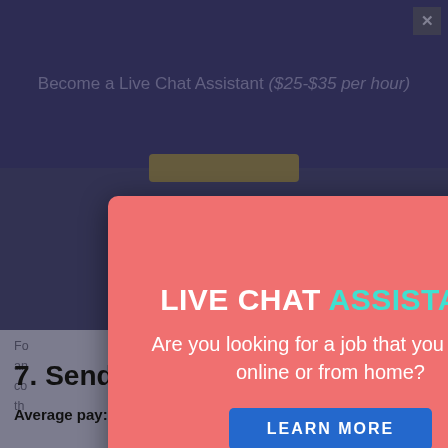Become a Live Chat Assistant ($25-$35 per hour)
[Figure (screenshot): Popup modal overlay on a website. The background shows a dark navy/purple page with a heading 'Become a Live Chat Assistant ($25-$35 per hour)' and a gold button. A coral/salmon colored modal popup is centered on screen with title 'LIVE CHAT ASSISTANT', body text 'Are you looking for a job that you can do online or from home?' and a blue 'LEARN MORE' button. A white circular close button with X is in the top right of the modal.]
7. Send TikTok DM’s
Average pay: $30 per hour